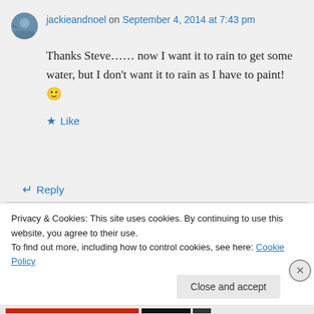jackieandnoel on September 4, 2014 at 7:43 pm
Thanks Steve…… now I want it to rain to get some water, but I don't want it to rain as I have to paint! 🙂
★ Like
↳ Reply
Privacy & Cookies: This site uses cookies. By continuing to use this website, you agree to their use. To find out more, including how to control cookies, see here: Cookie Policy
Close and accept